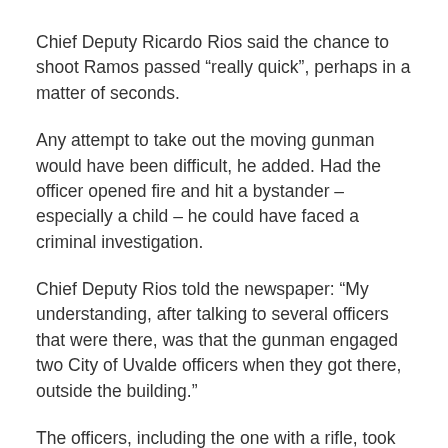Chief Deputy Ricardo Rios said the chance to shoot Ramos passed “really quick”, perhaps in a matter of seconds.
Any attempt to take out the moving gunman would have been difficult, he added. Had the officer opened fire and hit a bystander – especially a child – he could have faced a criminal investigation.
Chief Deputy Rios told the newspaper: “My understanding, after talking to several officers that were there, was that the gunman engaged two City of Uvalde officers when they got there, outside the building.”
The officers, including the one with a rifle, took cover behind a patrol car.